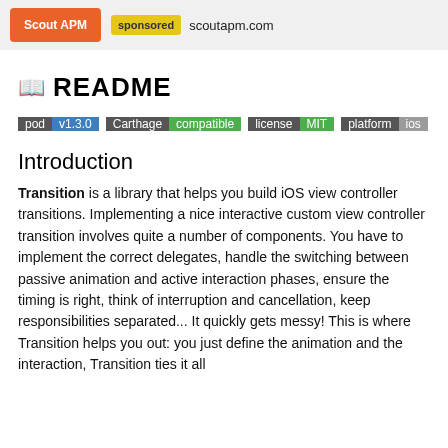Scout APM | sponsored scoutapm.com
📖 README
[Figure (other): Badges: pod v1.3.0 | Carthage compatible | license MIT | platform ios]
Introduction
Transition is a library that helps you build iOS view controller transitions. Implementing a nice interactive custom view controller transition involves quite a number of components. You have to implement the correct delegates, handle the switching between passive animation and active interaction phases, ensure the timing is right, think of interruption and cancellation, keep responsibilities separated... It quickly gets messy! This is where Transition helps you out: you just define the animation and the interaction, Transition ties it all